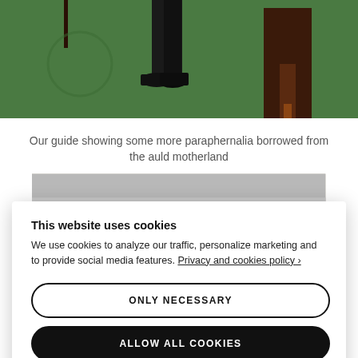[Figure (photo): Partial photo showing person's legs and feet in black dress shoes standing on green patterned carpet, with dark wooden furniture in background]
Our guide showing some more paraphernalia borrowed from the auld motherland
[Figure (photo): Interior room photo showing decorative ceiling with ornate panels featuring square frames, a central chandelier or emblem, and pale walls]
[Figure (photo): Partial photo at bottom showing green patterned carpet and dark wooden furniture]
This website uses cookies
We use cookies to analyze our traffic, personalize marketing and to provide social media features. Privacy and cookies policy ›
ONLY NECESSARY
ALLOW ALL COOKIES
CONFIGURE SETTINGS ›